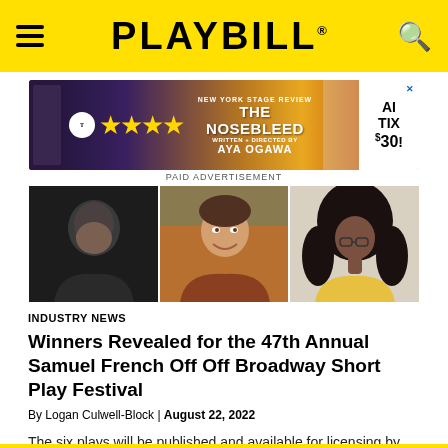PLAYBILL
[Figure (photo): Advertisement banner for 'The Nosebleed' by Aya Ogawa with four stars from New York Stage Review, showing cast members, priced at $30 tickets]
PAID ADVERTISEMENT
[Figure (photo): Three headshot photos side by side: a smiling man with glasses on dark background, a smiling man outdoors in warm light, and a woman with curly hair and glasses on light background]
INDUSTRY NEWS
Winners Revealed for the 47th Annual Samuel French Off Off Broadway Short Play Festival
By Logan Culwell-Block | August 22, 2022
The six plays will be published and available for licensing by Samuel French.